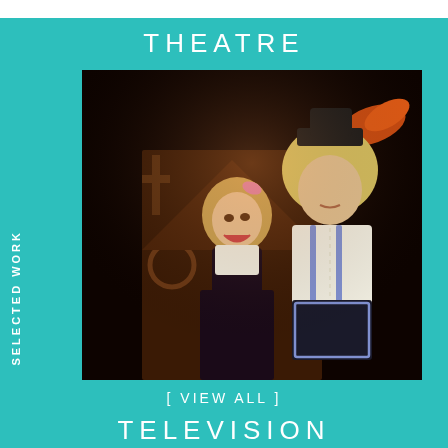THEATRE
SELECTED WORK
[Figure (photo): Two theatrical performers on stage: a woman with curly blonde hair laughing, wearing a floral dress; a man in a wig, glasses, white shirt and suspenders with outlined shorts, appearing to be in a comedic role. Stage set has dark background with cross and rustic structures.]
[ VIEW ALL ]
TELEVISION